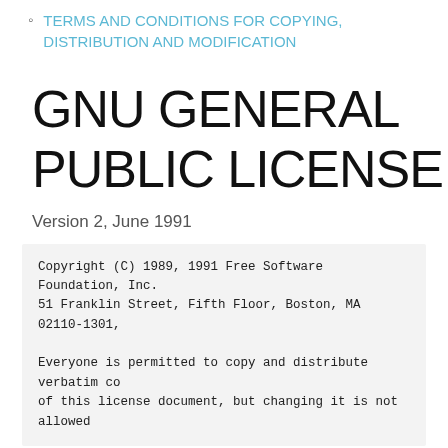TERMS AND CONDITIONS FOR COPYING, DISTRIBUTION AND MODIFICATION
GNU GENERAL PUBLIC LICENSE
Version 2, June 1991
Copyright (C) 1989, 1991 Free Software Foundation, Inc.
51 Franklin Street, Fifth Floor, Boston, MA  02110-1301,

Everyone is permitted to copy and distribute verbatim copies of this license document, but changing it is not allowed
Preamble